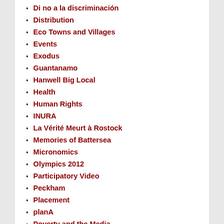Di no a la discriminación
Distribution
Eco Towns and Villages
Events
Exodus
Guantanamo
Hanwell Big Local
Health
Human Rights
INURA
La Vérité Meurt à Rostock
Memories of Battersea
Micronomics
Olympics 2012
Participatory Video
Peckham
Placement
planA
Poverty and the Media
Production Services
Productions
Rectory Gardens